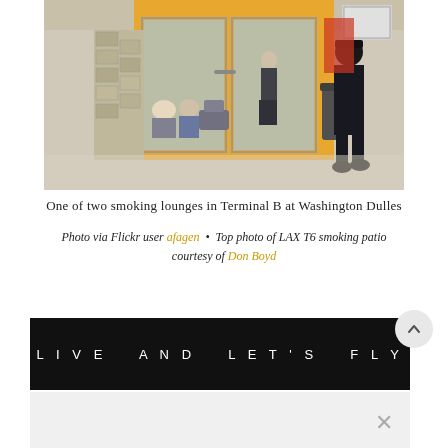[Figure (photo): Photo of a smoking lounge in Terminal B at Washington Dulles airport, showing people seated near glass doors and a person in airline uniform walking away]
One of two smoking lounges in Terminal B at Washington Dulles
Photo via Flickr user afagen  •  Top photo of LAX T6 smoking patio courtesy of Don Boyd
[Figure (screenshot): Dark banner with white spaced text reading LIVE AND LET'S FLY]
[Figure (screenshot): Gray box with close/X button at bottom of page]